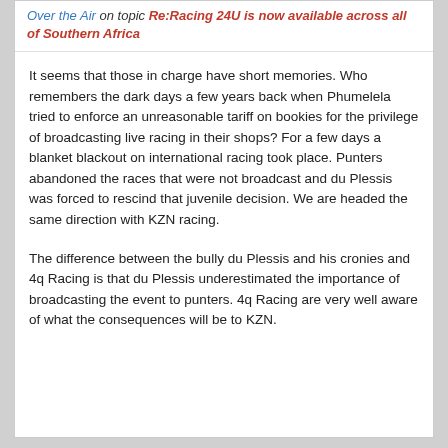Over the Air on topic Re:Racing 24U is now available across all of Southern Africa
It seems that those in charge have short memories. Who remembers the dark days a few years back when Phumelela tried to enforce an unreasonable tariff on bookies for the privilege of broadcasting live racing in their shops? For a few days a blanket blackout on international racing took place. Punters abandoned the races that were not broadcast and du Plessis was forced to rescind that juvenile decision. We are headed the same direction with KZN racing.
The difference between the bully du Plessis and his cronies and 4q Racing is that du Plessis underestimated the importance of broadcasting the event to punters. 4q Racing are very well aware of what the consequences will be to KZN.